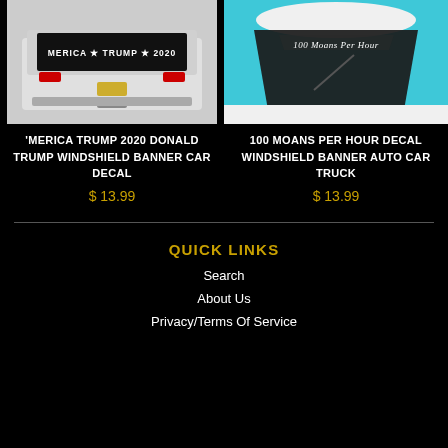[Figure (photo): Rear view of a truck with white decal reading MERICA * TRUMP * 2020 on the back window, dark background]
[Figure (photo): Front windshield of a white car with white script decal reading 100 Moans Per Hour, teal/blue background]
'MERICA TRUMP 2020 DONALD TRUMP WINDSHIELD BANNER CAR DECAL
$ 13.99
100 MOANS PER HOUR DECAL WINDSHIELD BANNER AUTO CAR TRUCK
$ 13.99
QUICK LINKS
Search
About Us
Privacy/Terms Of Service